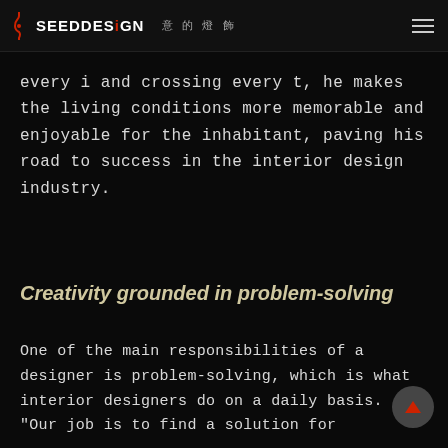SEEDDESIGN 意的燈飾
every i and crossing every t, he makes the living conditions more memorable and enjoyable for the inhabitant, paving his road to success in the interior design industry.
Creativity grounded in problem-solving
One of the main responsibilities of a designer is problem-solving, which is what interior designers do on a daily basis. "Our job is to find a solution for